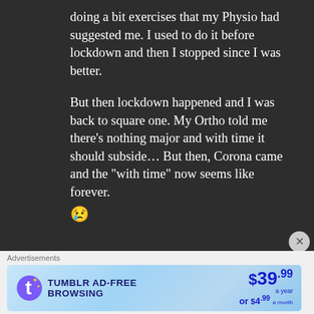doing a bit exercises that my Physio had suggested me. I used to do it before lockdown and then I stopped since I was better.

But then lockdown happened and I was back to square one. My Ortho told me there’s nothing major and with time it should subside… But then, Corona came and the “with time” now seems like forever. 😢
Advertisements
[Figure (other): Tumblr Ad-Free Browsing advertisement banner. Shows Tumblr logo, text 'TUMBLR AD-FREE BROWSING', price $39.99 a year or $4.99 a month, with sparkle decorations on light blue gradient background.]